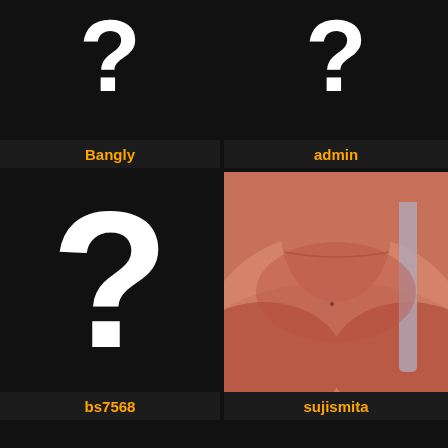[Figure (screenshot): User avatar placeholder with white question mark on dark background for user Bangly]
Bangly
[Figure (screenshot): User avatar placeholder with white question mark on dark background for user admin]
admin
[Figure (screenshot): User avatar placeholder with large white question mark on dark background for user bs7568]
[Figure (photo): Profile photo showing a person's neck and chest area for user sujismita]
sujismita
bs7568
[Figure (screenshot): Partially visible avatar placeholder at bottom left]
[Figure (screenshot): Partially visible avatar placeholder at bottom right]